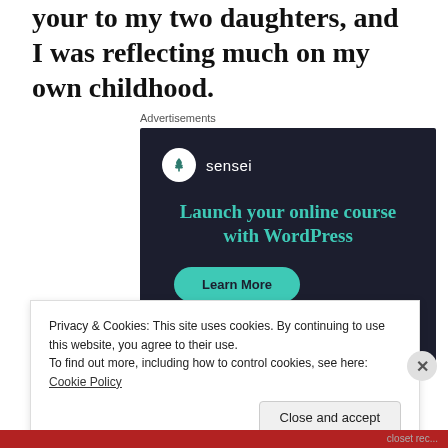your to my two daughters, and I was reflecting much on my own childhood.
Advertisements
[Figure (illustration): Sensei advertisement with dark navy background. Shows Sensei logo (tree icon in white circle) with text 'sensei', headline 'Launch your online course with WordPress' in teal, and a 'Learn More' button in teal.]
Privacy & Cookies: This site uses cookies. By continuing to use this website, you agree to their use.
To find out more, including how to control cookies, see here: Cookie Policy
Close and accept